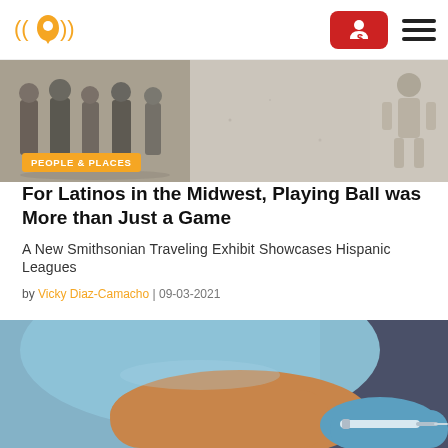Navigation bar with logo, donate button, and hamburger menu
[Figure (photo): Header banner showing a black-and-white vintage group photo on the left and a vintage illustration on the right, with a light grey middle section]
PEOPLE & PLACES
For Latinos in the Midwest, Playing Ball was More than Just a Game
A New Smithsonian Traveling Exhibit Showcases Hispanic Leagues
by Vicky Diaz-Camacho | 09-03-2021
[Figure (photo): Photo of a person in a blue top receiving a vaccine injection in the arm from a gloved medical professional]